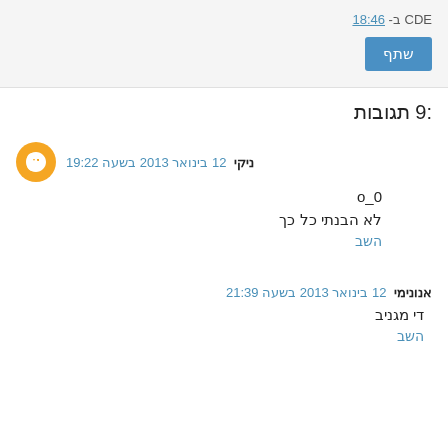CDE - ב 18:46
שתף
9 תגובות:
ניקי 12 בינואר 2013 בשעה 19:22
o_0
לא הבנתי כל כך
השב
אנונימי 12 בינואר 2013 בשעה 21:39
די מגניב
השב